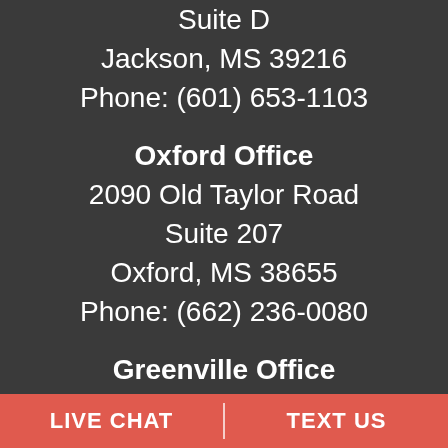Suite D
Jackson, MS 39216
Phone: (601) 653-1103
Oxford Office
2090 Old Taylor Road
Suite 207
Oxford, MS 38655
Phone: (662) 236-0080
Greenville Office
540 Main Street
ICON Building, Suite 302
Greenville, MS 38701
LIVE CHAT   TEXT US